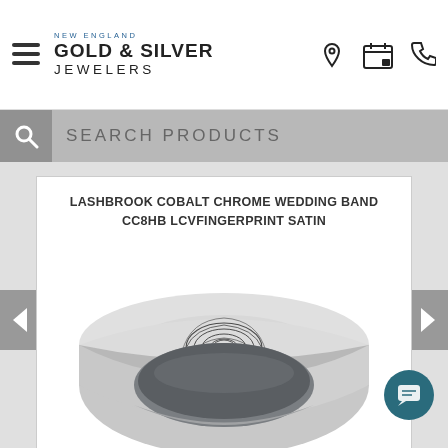New England Gold & Silver Jewelers
SEARCH PRODUCTS
LASHBROOK COBALT CHROME WEDDING BAND CC8HB LCVFINGERPRINT SATIN
[Figure (photo): A cobalt chrome wedding band with a fingerprint engraving in satin finish, shown at an angle on a white background.]